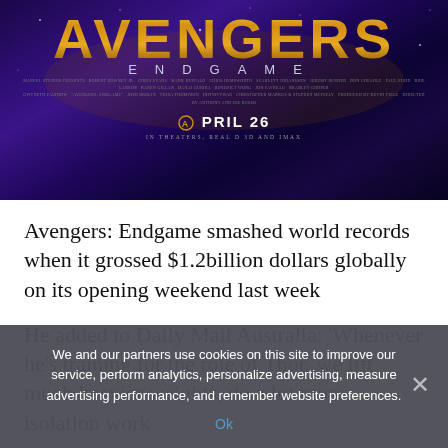[Figure (photo): Avengers: Endgame movie poster with stylized title text on dark purple/space background, showing 'AVENGERS ENDGAME' title, small credits text, and 'APRIL 26' release date]
Avengers: Endgame smashed world records when it grossed $1.2billion dollars globally on its opening weekend last week
He added to Daily Mail Australia: ‘Whenever he’s training for the role of Thor, we lift much heavier weights, do a lot more isolation work
We and our partners use cookies on this site to improve our service, perform analytics, personalize advertising, measure advertising performance, and remember website preferences.
Ok